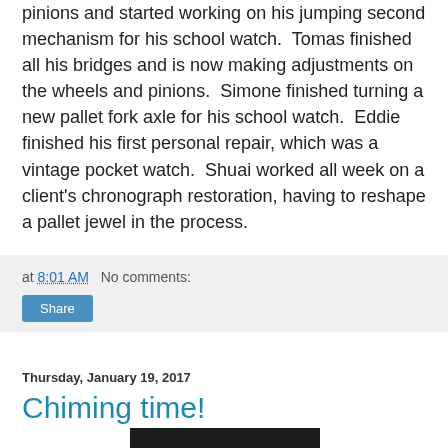pinions and started working on his jumping second mechanism for his school watch.  Tomas finished all his bridges and is now making adjustments on the wheels and pinions.  Simone finished turning a new pallet fork axle for his school watch.  Eddie finished his first personal repair, which was a vintage pocket watch.  Shuai worked all week on a client's chronograph restoration, having to reshape a pallet jewel in the process.
at 8:01 AM   No comments:
Share
Thursday, January 19, 2017
Chiming time!
[Figure (photo): Dark image strip at bottom of page, partially visible]